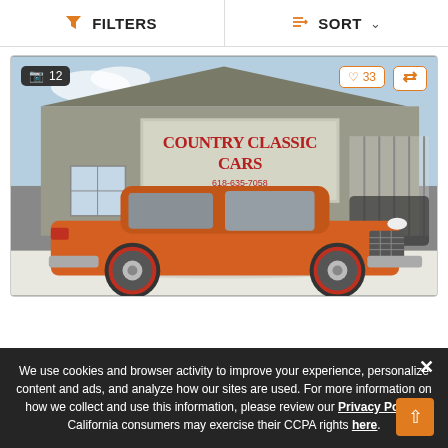FILTERS   SORT
[Figure (photo): Orange classic car (1969 Chevrolet Biscayne/Impala) parked outside Country Classic Cars dealership building in winter with snow on the ground. Photo badge shows 12 photos, heart badge shows 33 likes, compare icon on right.]
We use cookies and browser activity to improve your experience, personalize content and ads, and analyze how our sites are used. For more information on how we collect and use this information, please review our Privacy Policy. California consumers may exercise their CCPA rights here.